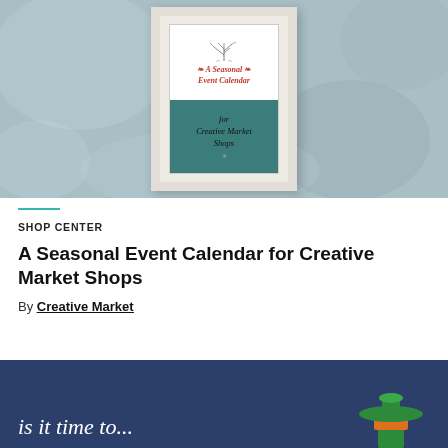[Figure (photo): A framed poster on a muted blue-grey textured wall. The frame is white/cream with a double border. The poster inside has a white upper section with a decorative branch illustration and red italic text reading 'A Seasonal Event Calendar', and a teal lower section with dark script text reading 'for Creative Market Shops'.]
SHOP CENTER
A Seasonal Event Calendar for Creative Market Shops
By Creative Market
[Figure (illustration): A dark navy blue banner with white italic script text beginning 'is it time to' and a colorful cartoon cactus figure on the right side with green top, orange middle, and green base.]